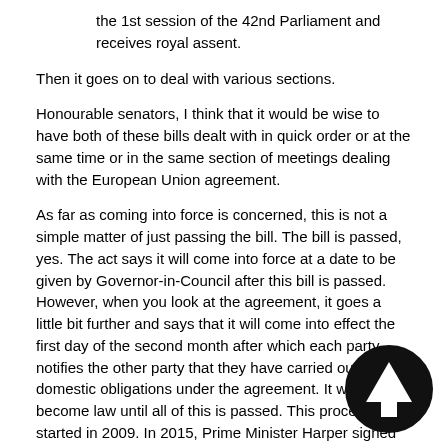the 1st session of the 42nd Parliament and receives royal assent.
Then it goes on to deal with various sections.
Honourable senators, I think that it would be wise to have both of these bills dealt with in quick order or at the same time or in the same section of meetings dealing with the European Union agreement.
As far as coming into force is concerned, this is not a simple matter of just passing the bill. The bill is passed, yes. The act says it will come into force at a date to be given by Governor-in-Council after this bill is passed. However, when you look at the agreement, it goes a little bit further and says that it will come into effect the first day of the second month after which each party notifies the other party that they have carried out their domestic obligations under the agreement. It will not become law until all of this is passed. This process start started in 2009. In 2015, Prime Minister Harper signed it. In 2016, it was finally signed in Kiev with the Prime Minister there. Now we have the act of Parliament presented in 2016 and here we are in 2017. If you think that it doesn't need to be passed, I can assure you that it must be passed in order for it to come into effect.
It's not like back in the 1970s when you remember the case before